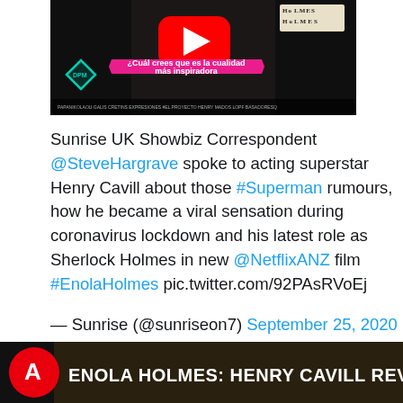[Figure (screenshot): Video thumbnail showing a person with YouTube play button, Holmes badge, DPM logo, and a pink banner reading '¿Cuál crees que es la cualidad más inspiradora']
Sunrise UK Showbiz Correspondent @SteveHargrave spoke to acting superstar Henry Cavill about those #Superman rumours, how he became a viral sensation during coronavirus lockdown and his latest role as Sherlock Holmes in new @NetflixANZ film #EnolaHolmes pic.twitter.com/92PAsRVoEj
— Sunrise (@sunriseon7) September 25, 2020
[Figure (screenshot): Video thumbnail with Antena 3 logo and text 'ENOLA HOLMES: HENRY CAVILL REVELA']